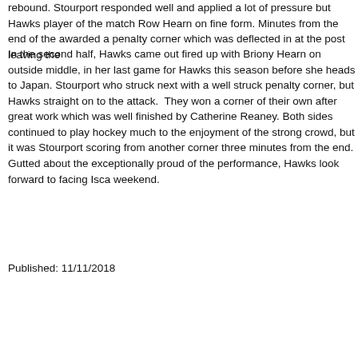rebound. Stourport responded well and applied a lot of pressure but Hawks player of the match Row Hearn on fine form. Minutes from the end of the awarded a penalty corner which was deflected in at the post leaving the
In the second half, Hawks came out fired up with Briony Hearn on outside middle, in her last game for Hawks this season before she heads to Japan. Stourport who struck next with a well struck penalty corner, but Hawks straight on to the attack. They won a corner of their own after great work which was well finished by Catherine Reaney. Both sides continued to play hockey much to the enjoyment of the strong crowd, but it was Stourport scoring from another corner three minutes from the end. Gutted about the exceptionally proud of the performance, Hawks look forward to facing Isca weekend.
Published: 11/11/2018